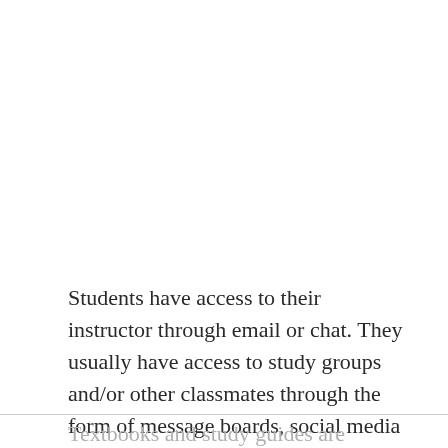Students have access to their instructor through email or chat. They usually have access to study groups and/or other classmates through the form of message boards, social media groups or chat rooms.
Textbooks and study guides are almost